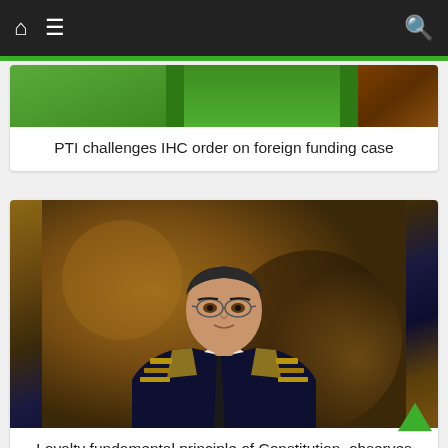Navigation bar with home, menu, and search icons
[Figure (photo): Partial image of article thumbnail with green and brown tones]
PTI challenges IHC order on foreign funding case
[Figure (photo): Portrait photo of Chief Justice of Pakistan in official judicial robes with gold embroidered collar against brown bokeh background]
Loyalty fundamental principle of Constitution, observes CJP